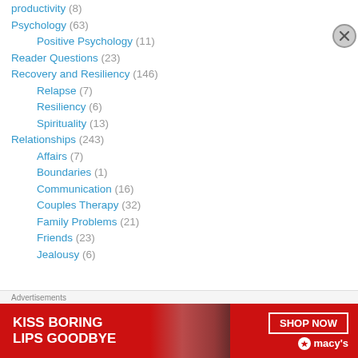productivity (8)
Psychology (63)
Positive Psychology (11)
Reader Questions (23)
Recovery and Resiliency (146)
Relapse (7)
Resiliency (6)
Spirituality (13)
Relationships (243)
Affairs (7)
Boundaries (1)
Communication (16)
Couples Therapy (32)
Family Problems (21)
Friends (23)
Jealousy (6)
[Figure (advertisement): Macy's advertisement banner: KISS BORING LIPS GOODBYE with SHOP NOW button and Macy's star logo on red background]